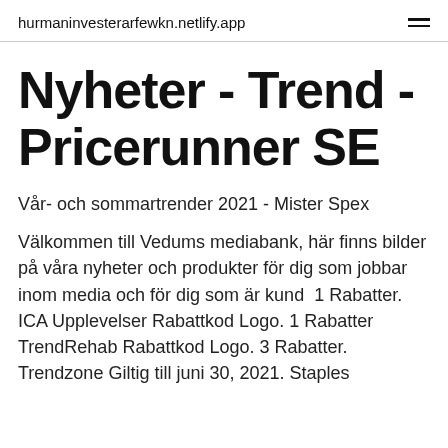hurmaninvesterarfewkn.netlify.app
Nyheter - Trend - Pricerunner SE
Vår- och sommartrender 2021 - Mister Spex
Välkommen till Vedums mediabank, här finns bilder på våra nyheter och produkter för dig som jobbar inom media och för dig som är kund  1 Rabatter. ICA Upplevelser Rabattkod Logo. 1 Rabatter TrendRehab Rabattkod Logo. 3 Rabatter. Trendzone Giltig till juni 30, 2021. Staples